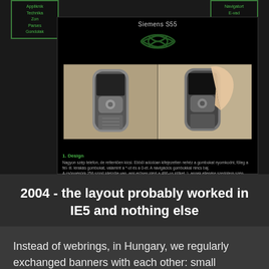[Figure (screenshot): Screenshot of a 2004 Hungarian website featuring a Siemens S55 phone review with black background, green Celtic knot design, navigation links on left (Appliknik, Technika, Zom, Parses, Gondolak) and right (E-vad), photos of a Siemens S55 mobile phone from front and held in hand, and Hungarian review text about design]
2004 - the layout probably worked in IE5 and nothing else
Instead of webrings, in Hungary, we regularly exchanged banners with each other: small images,